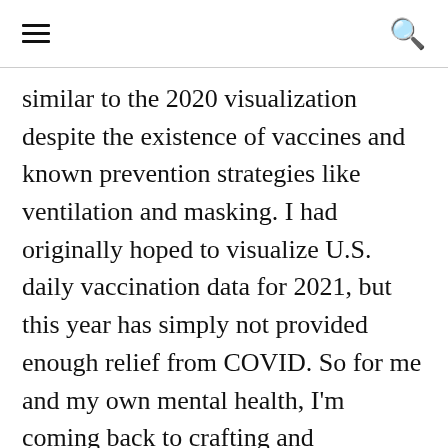≡  🔍
similar to the 2020 visualization despite the existence of vaccines and known prevention strategies like ventilation and masking. I had originally hoped to visualize U.S. daily vaccination data for 2021, but this year has simply not provided enough relief from COVID. So for me and my own mental health, I'm coming back to crafting and visualization as a way to work through the continued trauma of living in a pandemic.